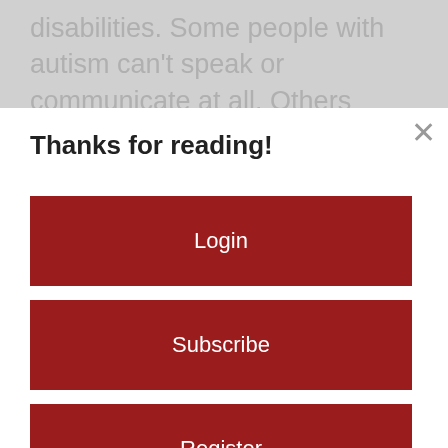disabilities. Some people with autism can't speak or communicate at all. Others function well throughout life, but might
Thanks for reading!
Login
Subscribe
Register